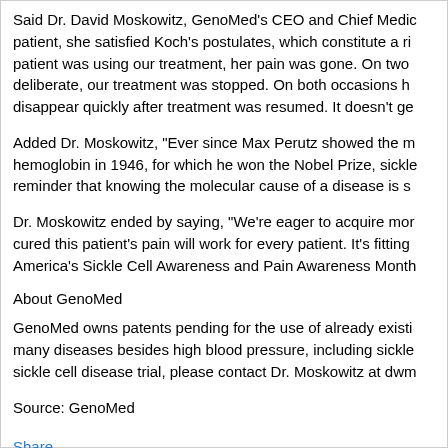Said Dr. David Moskowitz, GenoMed's CEO and Chief Medic... patient, she satisfied Koch's postulates, which constitute a ri... patient was using our treatment, her pain was gone. On two deliberate, our treatment was stopped. On both occasions h... disappear quickly after treatment was resumed. It doesn't ge...
Added Dr. Moskowitz, "Ever since Max Perutz showed the m... hemoglobin in 1946, for which he won the Nobel Prize, sickle... reminder that knowing the molecular cause of a disease is s...
Dr. Moskowitz ended by saying, "We're eager to acquire mor... cured this patient's pain will work for every patient. It's fitting America's Sickle Cell Awareness and Pain Awareness Month...
About GenoMed
GenoMed owns patents pending for the use of already existi... many diseases besides high blood pressure, including sickle... sickle cell disease trial, please contact Dr. Moskowitz at dwm...
Source: GenoMed
Share